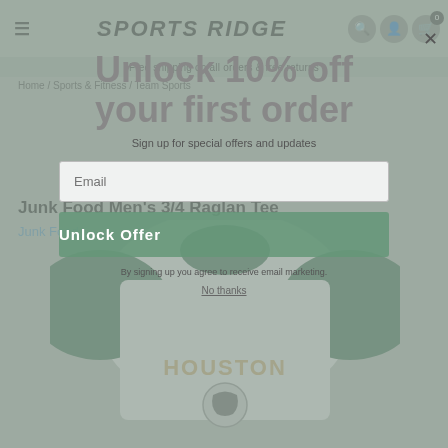SPORTS RIDGE
Free shipping on all orders & free returns
Home / Sports & Fitness / Team Sports
Junk Food Men's 3/4 Raglan Tee
Junk Food
[Figure (screenshot): Email signup modal overlay showing 'Unlock 10% off your first order' with email input, Unlock Offer button, and No thanks link over a sports shirt product page]
Unlock 10% off
your first order
Sign up for special offers and updates
Email
Unlock Offer
By signing up you agree to receive email marketing.
No thanks